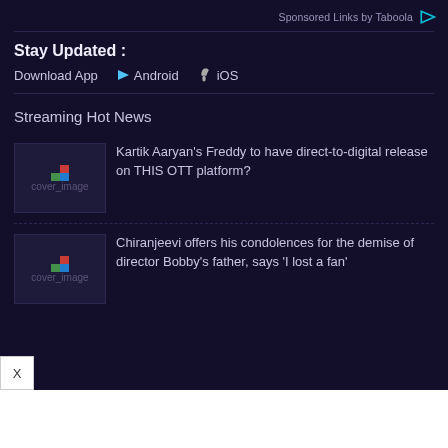Sponsored Links by Taboola
Stay Updated :
Download App  Android  iOS
Streaming Hot News
Kartik Aaryan’s Freddy to have direct-to-digital release on THIS OTT platform?
Chiranjeevi offers his condolences for the demise of director Bobby’s father, says ‘I lost a fan’